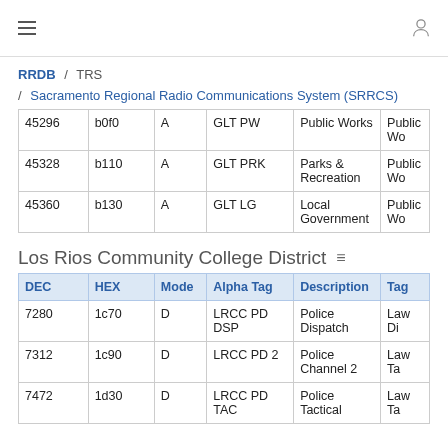≡  [user icon]
RRDB / TRS / Sacramento Regional Radio Communications System (SRRCS)
| DEC | HEX | Mode | Alpha Tag | Description | Tag |
| --- | --- | --- | --- | --- | --- |
| 45296 | b0f0 | A | GLT PW | Public Works | Public Wo |
| 45328 | b110 | A | GLT PRK | Parks & Recreation | Public Wo |
| 45360 | b130 | A | GLT LG | Local Government | Public Wo |
Los Rios Community College District
| DEC | HEX | Mode | Alpha Tag | Description | Tag |
| --- | --- | --- | --- | --- | --- |
| 7280 | 1c70 | D | LRCC PD DSP | Police Dispatch | Law Di |
| 7312 | 1c90 | D | LRCC PD 2 | Police Channel 2 | Law Ta |
| 7472 | 1d30 | D | LRCC PD TAC | Police Tactical | Law Ta |